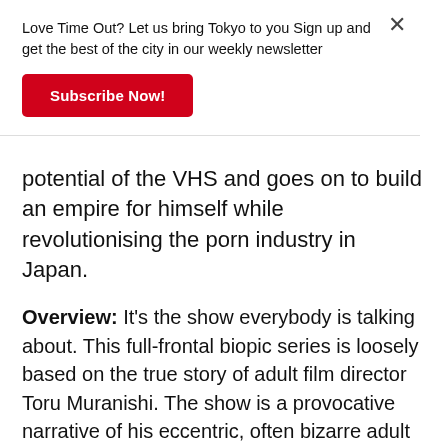Love Time Out? Let us bring Tokyo to you Sign up and get the best of the city in our weekly newsletter
Subscribe Now!
potential of the VHS and goes on to build an empire for himself while revolutionising the porn industry in Japan.
Overview: It's the show everybody is talking about. This full-frontal biopic series is loosely based on the true story of adult film director Toru Muranishi. The show is a provocative narrative of his eccentric, often bizarre adult film career that blossomed at the height of the economic boom in the '80s. While the series was only released in August, Netflix has already confirmed the show is being renewed for a second season.